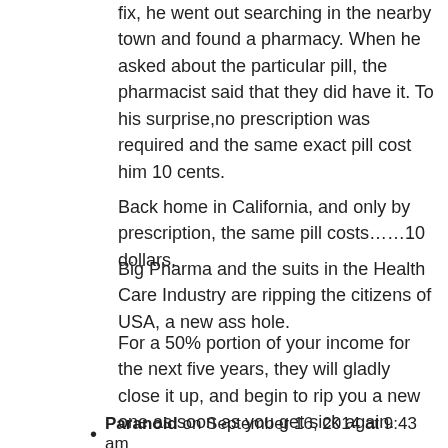fix, he went out searching in the nearby town and found a pharmacy. When he asked about the particular pill, the pharmacist said that they did have it. To his surprise,no prescription was required and the same exact pill cost him 10 cents.
Back home in California, and only by prescription, the same pill costs……10 dollars.
Big Pharma and the suits in the Health Care Industry are ripping the citizens of USA, a new ass hole.
For a 50% portion of your income for the next five years, they will gladly close it up, and begin to rip you a new one as soon as you get sick again.
Paranoid on September 16, 2014 at 9:43 am